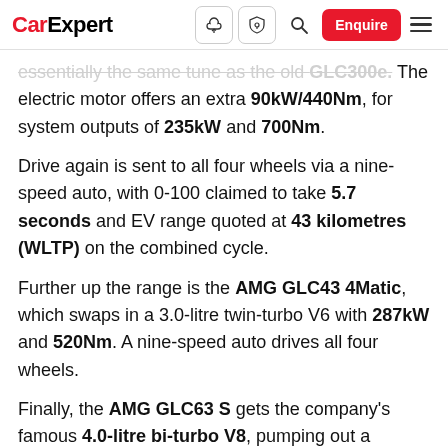CarExpert — navigation header with logo, icons, Enquire button, and hamburger menu
essentially the same tune as the old GLC300e. The electric motor offers an extra 90kW/440Nm, for system outputs of 235kW and 700Nm.
Drive again is sent to all four wheels via a nine-speed auto, with 0-100 claimed to take 5.7 seconds and EV range quoted at 43 kilometres (WLTP) on the combined cycle.
Further up the range is the AMG GLC43 4Matic, which swaps in a 3.0-litre twin-turbo V6 with 287kW and 520Nm. A nine-speed auto drives all four wheels.
Finally, the AMG GLC63 S gets the company's famous 4.0-litre bi-turbo V8, pumping out a